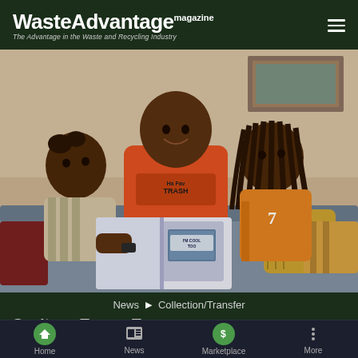WasteAdvantage magazine – The Advantage in the Waste and Recycling Industry
[Figure (photo): A man in an orange 'Ha Fav Trash' t-shirt sits on a gray couch reading a children's book titled 'I'm Cool Too' with two children — a young girl on his left and an older child with dreadlocks on his right]
News ▶ Collection/Transfer
Sanit... Activist Tr... (W... Tr...)
Home  News  Marketplace  More